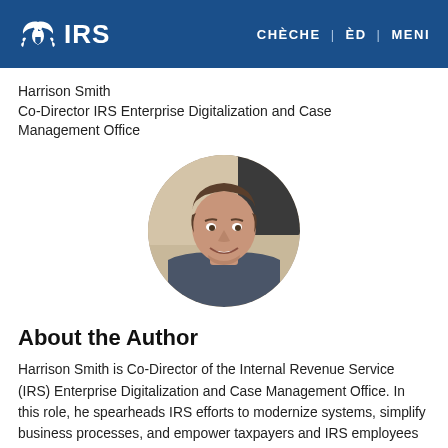IRS | CHÈCHE | ÈD | MENI
Harrison Smith
Co-Director IRS Enterprise Digitalization and Case Management Office
[Figure (photo): Circular headshot photo of Harrison Smith, a man smiling in business attire]
About the Author
Harrison Smith is Co-Director of the Internal Revenue Service (IRS) Enterprise Digitalization and Case Management Office. In this role, he spearheads IRS efforts to modernize systems, simplify business processes, and empower taxpayers and IRS employees to rapidly resolve issues in simplified digital environments.